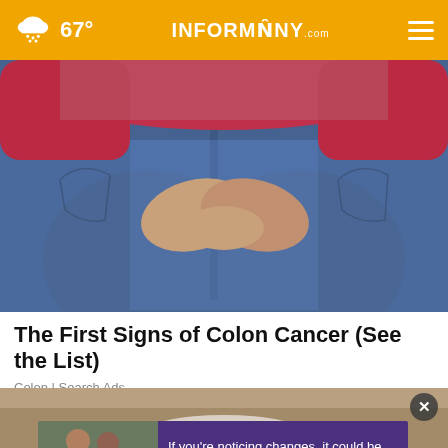67° INFORMNNY.com
[Figure (photo): Close-up photo of a person from behind wearing blue jeans and a red top, hands clasped behind their back near the lower back area.]
The First Signs of Colon Cancer (See the List)
Colon | Search Ads
[Figure (photo): Advertisement banner showing two men together with text: 'If you're noticing changes, it could be Alzheimer's. Visit a doctor together.' on a purple background.]